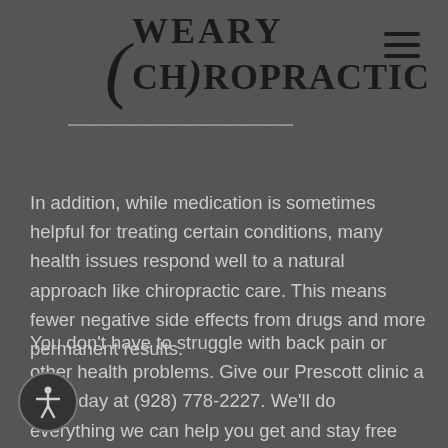WEARY CHIROPRACTIC
In addition, while medication is sometimes helpful for treating certain conditions, many health issues respond well to a natural approach like chiropractic care. This means fewer negative side effects from drugs and more permanent results.
You don't have to struggle with back pain or other health problems. Give our Prescott clinic a call today at (928) 778-2227. We'll do everything we can help you get and stay free from back pain.